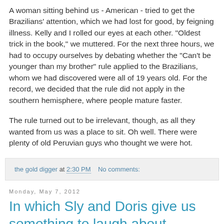A woman sitting behind us - American - tried to get the Brazilians' attention, which we had lost for good, by feigning illness. Kelly and I rolled our eyes at each other. "Oldest trick in the book," we muttered. For the next three hours, we had to occupy ourselves by debating whether the "Can't be younger than my brother" rule applied to the Brazilians, whom we had discovered were all of 19 years old. For the record, we decided that the rule did not apply in the southern hemisphere, where people mature faster.
The rule turned out to be irrelevant, though, as all they wanted from us was a place to sit. Oh well. There were plenty of old Peruvian guys who thought we were hot.
the gold digger at 2:30 PM   No comments:
Monday, May 7, 2012
In which Sly and Doris give us something to laugh about